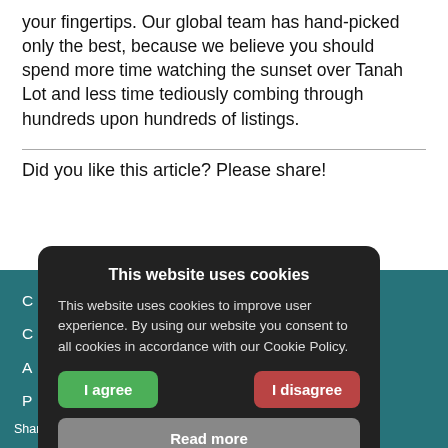your fingertips. Our global team has hand-picked only the best, because we believe you should spend more time watching the sunset over Tanah Lot and less time tediously combing through hundreds upon hundreds of listings.
Did you like this article? Please share!
[Figure (screenshot): Cookie consent modal overlay with dark background showing title 'This website uses cookies', body text about cookie policy, green 'I agree' button, red 'I disagree' button, and grey 'Read more' button.]
C
C
A
P
Shares